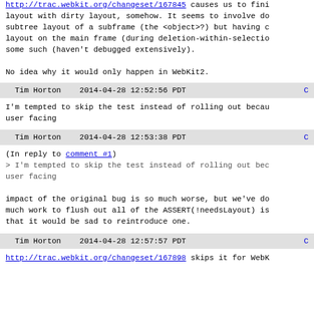http://trac.webkit.org/changeset/167845 causes us to finish layout with dirty layout, somehow. It seems to involve doing subtree layout of a subframe (the <object>?) but having dirty layout on the main frame (during deletion-within-selection or some such (haven't debugged extensively).

No idea why it would only happen in WebKit2.
Tim Horton   2014-04-28 12:52:56 PDT
I'm tempted to skip the test instead of rolling out because user facing
Tim Horton   2014-04-28 12:53:38 PDT
(In reply to comment #1)
> I'm tempted to skip the test instead of rolling out because user facing

impact of the original bug is so much worse, but we've done so much work to flush out all of the ASSERT(!needsLayout) issues that it would be sad to reintroduce one.
Tim Horton   2014-04-28 12:57:57 PDT
http://trac.webkit.org/changeset/167898 skips it for WebK